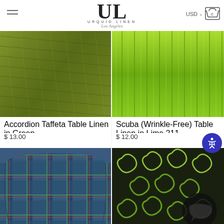URQUID LINEN Los Angeles
[Figure (photo): Green accordion taffeta fabric texture close-up]
Accordion Taffeta Table Linen in Green
$ 13.00
[Figure (photo): Bright lime green scuba fabric with vertical folds]
Scuba (Wrinkle-Free) Table Linen in Lime 211
$ 12.00
[Figure (photo): Blue and green plaid tartan tablecloth draped over round table]
[Figure (photo): Black and green swirling pattern tablecloth on table]